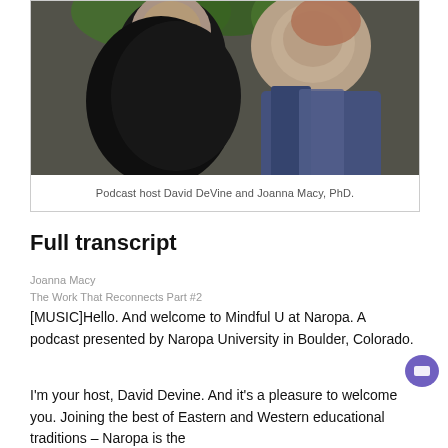[Figure (photo): Photo of two people close together outdoors with foliage in the background. Left person wearing dark/black clothing, right person with lighter hair and patterned scarf/clothing.]
Podcast host David DeVine and Joanna Macy, PhD.
Full transcript
Joanna Macy
The Work That Reconnects Part #2
[MUSIC]Hello. And welcome to Mindful U at Naropa. A podcast presented by Naropa University in Boulder, Colorado.
I'm your host, David Devine. And it's a pleasure to welcome you. Joining the best of Eastern and Western educational traditions – Naropa is the